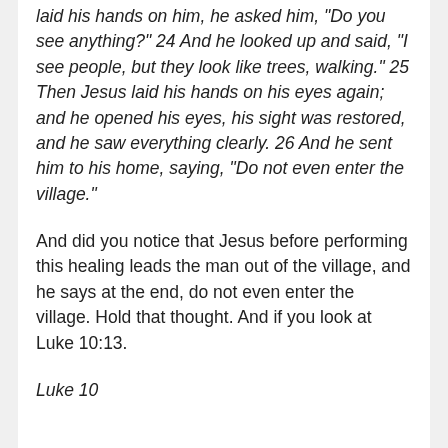laid his hands on him, he asked him, "Do you see anything?" 24 And he looked up and said, "I see people, but they look like trees, walking." 25 Then Jesus laid his hands on his eyes again; and he opened his eyes, his sight was restored, and he saw everything clearly. 26 And he sent him to his home, saying, "Do not even enter the village."
And did you notice that Jesus before performing this healing leads the man out of the village, and he says at the end, do not even enter the village. Hold that thought. And if you look at Luke 10:13.
Luke 10